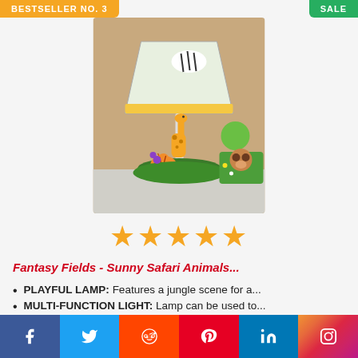BESTSELLER NO. 3
SALE
[Figure (photo): Children's fantasy lamp with jungle/safari animals scene including giraffe, zebra, tiger on a decorative base with black and white striped rim, placed on a table near colorful kids decor.]
★★★★★
Fantasy Fields - Sunny Safari Animals...
PLAYFUL LAMP: Features a jungle scene for a...
MULTI-FUNCTION LIGHT: Lamp can be used to...
Social share bar: Facebook, Twitter, Reddit, Pinterest, LinkedIn, Instagram